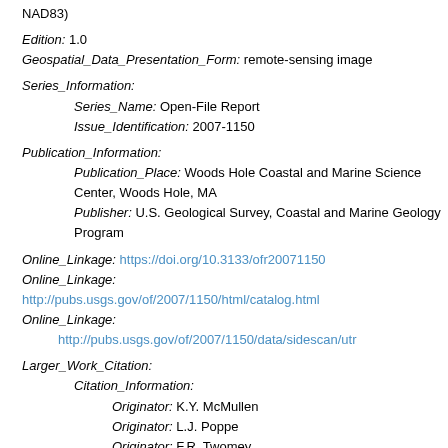NAD83)
Edition: 1.0
Geospatial_Data_Presentation_Form: remote-sensing image
Series_Information:
Series_Name: Open-File Report
Issue_Identification: 2007-1150
Publication_Information:
Publication_Place: Woods Hole Coastal and Marine Science Center, Woods Hole, MA
Publisher: U.S. Geological Survey, Coastal and Marine Geology Program
Online_Linkage: https://doi.org/10.3133/ofr20071150
Online_Linkage: http://pubs.usgs.gov/of/2007/1150/html/catalog.html
Online_Linkage: http://pubs.usgs.gov/of/2007/1150/data/sidescan/utr
Larger_Work_Citation:
Citation_Information:
Originator: K.Y. McMullen
Originator: L.J. Poppe
Originator: F.R. Twomey